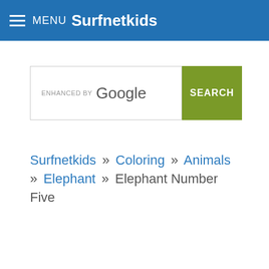MENU Surfnetkids
[Figure (screenshot): Search bar with 'ENHANCED BY Google' text and a green SEARCH button]
Surfnetkids » Coloring » Animals » Elephant » Elephant Number Five